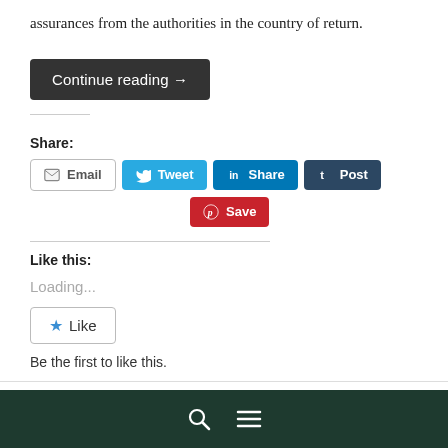assurances from the authorities in the country of return.
Continue reading →
Share:
Email  Tweet  Share  Post  Save
Like this:
Loading...
Like
Be the first to like this.